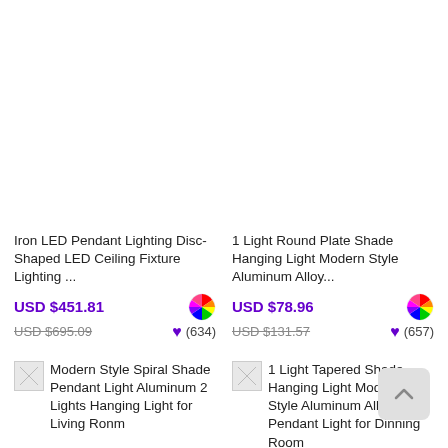Iron LED Pendant Lighting Disc-Shaped LED Ceiling Fixture Lighting ...
USD $451.81
USD $695.09
(634)
1 Light Round Plate Shade Hanging Light Modern Style Aluminum Alloy...
USD $78.96
USD $131.57
(657)
Modern Style Spiral Shade Pendant Light Aluminum 2 Lights Hanging Light for Living Ronm
1 Light Tapered Shade Hanging Light Modern Style Aluminum Alloy Pendant Light for Dinning Room